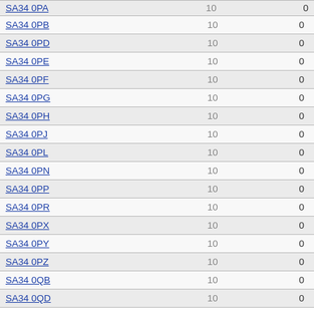| Postcode | Count | Value |
| --- | --- | --- |
| SA34 0PA | 10 | 0 |
| SA34 0PB | 10 | 0 |
| SA34 0PD | 10 | 0 |
| SA34 0PE | 10 | 0 |
| SA34 0PF | 10 | 0 |
| SA34 0PG | 10 | 0 |
| SA34 0PH | 10 | 0 |
| SA34 0PJ | 10 | 0 |
| SA34 0PL | 10 | 0 |
| SA34 0PN | 10 | 0 |
| SA34 0PP | 10 | 0 |
| SA34 0PR | 10 | 0 |
| SA34 0PX | 10 | 0 |
| SA34 0PY | 10 | 0 |
| SA34 0PZ | 10 | 0 |
| SA34 0QB | 10 | 0 |
| SA34 0QD | 10 | 0 |